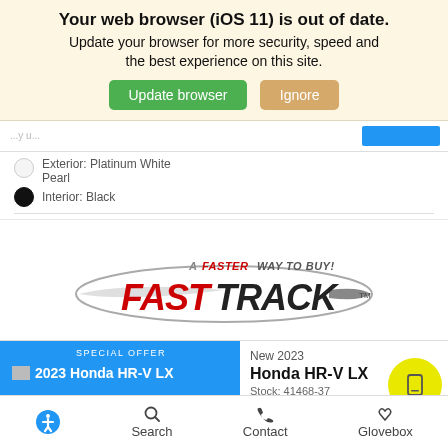Your web browser (iOS 11) is out of date. Update your browser for more security, speed and the best experience on this site.
[Figure (screenshot): Two buttons: 'Update browser' (green) and 'Ignore' (tan/orange)]
Exterior: Platinum White Pearl
Interior: Black
[Figure (logo): FastTrack logo: A Faster Way To Buy! with racing swoosh graphic]
SPECIAL OFFER
2023 Honda HR-V LX
New 2023
Honda HR-V LX
Stock: 41468-37